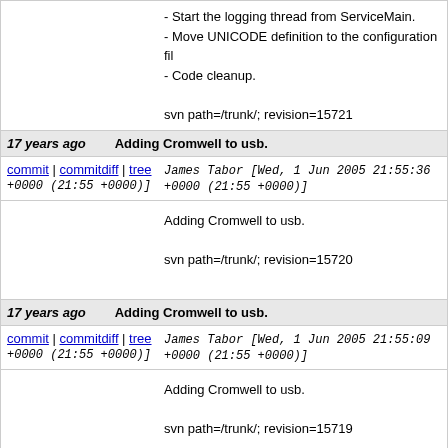- Start the logging thread from ServiceMain.
- Move UNICODE definition to the configuration file.
- Code cleanup.

svn path=/trunk/; revision=15721
| 17 years ago | Adding Cromwell to usb. |
| --- | --- |
| commit | commitdiff | tree
+0000 (21:55 +0000)] | James Tabor [Wed, 1 Jun 2005 21:55:36 +0000 (21:55 +0000)] |
|  | Adding Cromwell to usb.

svn path=/trunk/; revision=15720 |
| 17 years ago | Adding Cromwell to usb. |
| --- | --- |
| commit | commitdiff | tree
+0000 (21:55 +0000)] | James Tabor [Wed, 1 Jun 2005 21:55:09 +0000 (21:55 +0000)] |
|  | Adding Cromwell to usb.

svn path=/trunk/; revision=15719 |
17 years ago   Build the UNICODE version of the eventlog service.